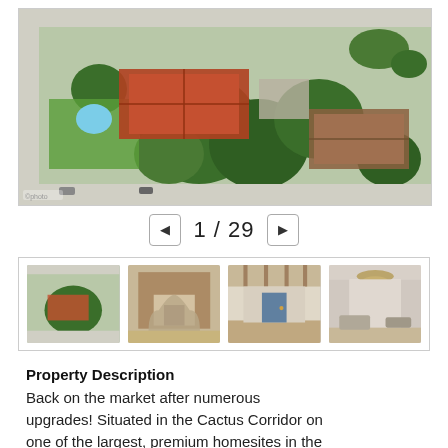[Figure (photo): Aerial drone photo of a residential property with a red tile roof, swimming pool, large trees, green lawn, and surrounding neighborhood streets]
1 / 29
[Figure (photo): Thumbnail 1: Aerial view of the property]
[Figure (photo): Thumbnail 2: Front view of the house with a gate/entrance]
[Figure (photo): Thumbnail 3: Covered entryway/porch of the house]
[Figure (photo): Thumbnail 4: Interior room with chandelier]
Property Description
Back on the market after numerous upgrades! Situated in the Cactus Corridor on one of the largest, premium homesites in the area, this 3-